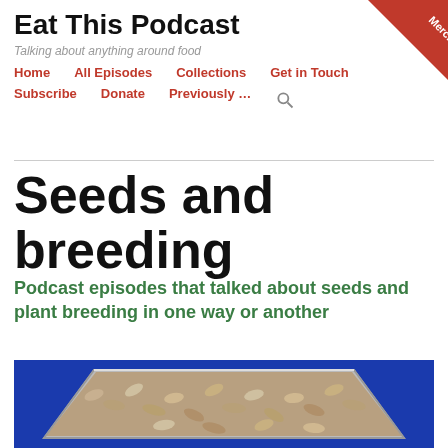Eat This Podcast
Talking about anything around food
Home   All Episodes   Collections   Get in Touch   Subscribe   Donate   Previously …
Seeds and breeding
Podcast episodes that talked about seeds and plant breeding in one way or another
[Figure (photo): A metal tin/container open, filled with seeds (grain/wheat seeds) against a blue background]